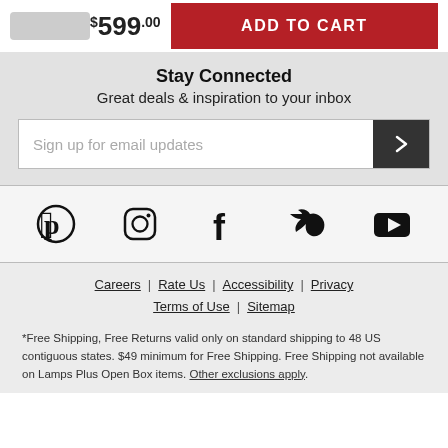$599.00 ADD TO CART
Stay Connected
Great deals & inspiration to your inbox
Sign up for email updates
[Figure (infographic): Social media icons: Pinterest, Instagram, Facebook, Twitter, YouTube]
Careers | Rate Us | Accessibility | Privacy | Terms of Use | Sitemap
*Free Shipping, Free Returns valid only on standard shipping to 48 US contiguous states. $49 minimum for Free Shipping. Free Shipping not available on Lamps Plus Open Box items. Other exclusions apply.